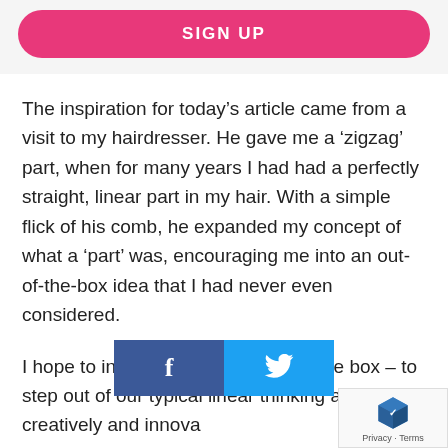SIGN UP
The inspiration for today’s article came from a visit to my hairdresser. He gave me a ‘zigzag’ part, when for many years I had had a perfectly straight, linear part in my hair. With a simple flick of his comb, he expanded my concept of what a ‘part’ was, encouraging me into an out-of-the-box idea that I had never even considered.
I hope to inspire you to think out of the box – to step out of our typical linear thinking and think creatively and innova